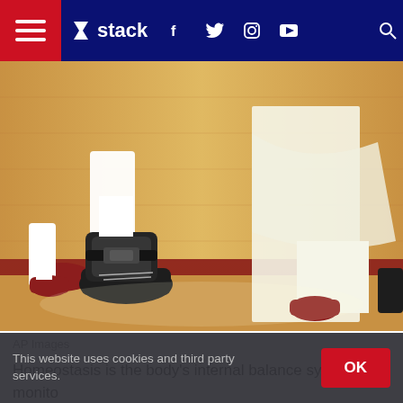stack (navigation bar with hamburger menu, logo, social icons: f, twitter, instagram, youtube, search)
[Figure (photo): Close-up photo of basketball players' legs and feet on a hardwood court. One player is wearing a black ankle brace/orthosis over a basketball shoe. Red and white sneakers are visible. The court floor shows red boundary lines.]
AP Images
Homeostasis is the body's internal balance system. It monitors body temperature and other vitals as necessary. It regulates...
This website uses cookies and third party services.
OK